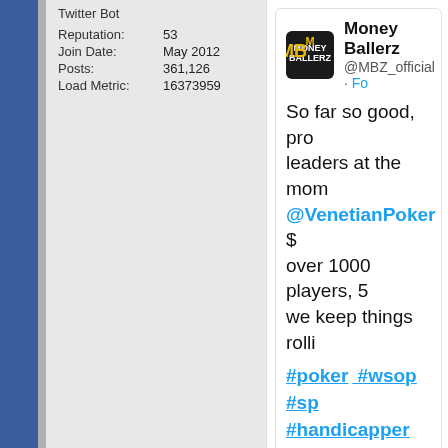Twitter Bot
| Reputation: | 53 |
| Join Date: | May 2012 |
| Posts: | 361,126 |
| Load Metric: | 16373959 |
[Figure (screenshot): Tweet from @MBZ_official (Money Ballerz) about poker at Venetian Poker with hashtags #poker #wsop #sp #handicapper, with a photo of poker players at a table.]